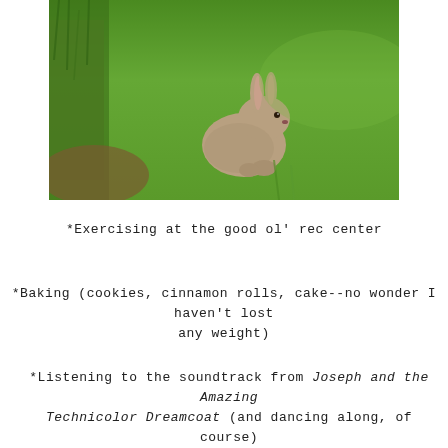[Figure (photo): A small brown rabbit sitting on lush green grass, near some wild grass or brush on the left side.]
*Exercising at the good ol' rec center
*Baking (cookies, cinnamon rolls, cake--no wonder I haven't lost any weight)
*Listening to the soundtrack from Joseph and the Amazing Technicolor Dreamcoat (and dancing along, of course)